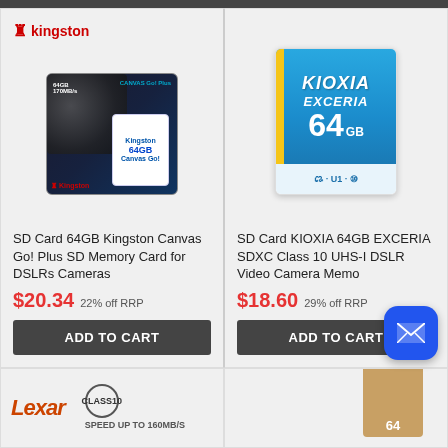[Figure (photo): Kingston Canvas Go! Plus 64GB SD memory card product image with camera background]
SD Card 64GB Kingston Canvas Go! Plus SD Memory Card for DSLRs Cameras
$20.34  22% off RRP
ADD TO CART
[Figure (photo): KIOXIA EXCERIA 64GB SDXC UHS-I SD card product image, blue card]
SD Card KIOXIA 64GB EXCERIA SDXC Class 10 UHS-I DSLR Video Camera Memo
$18.60  29% off RRP
ADD TO CART
[Figure (logo): Lexar logo with CLASS 10 badge and SPEED UP TO 160MB/S text]
[Figure (photo): Partial view of another SD card product, brown/tan packaging with 64 visible]